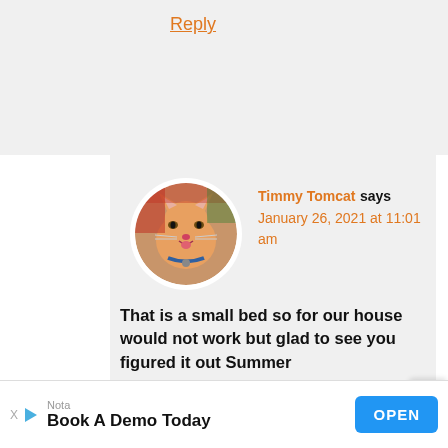Reply
[Figure (photo): Round avatar photo of an orange tabby cat named Timmy Tomcat, with a collar, appearing to stick out its tongue, against a red and green background.]
Timmy Tomcat says January 26, 2021 at 11:01 am
That is a small bed so for our house would not work but glad to see you figured it out Summer
Reply
Nota Book A Demo Today OPEN